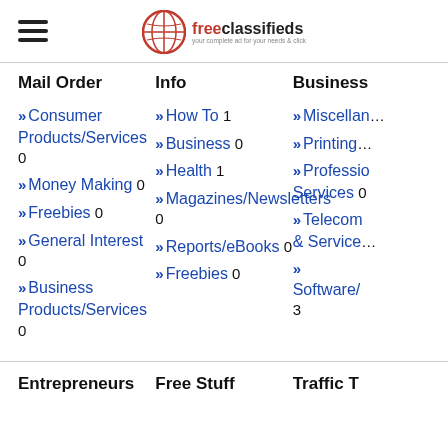freeclassifieds
Mail Order
» Consumer Products/Services 0
» Money Making 0
» Freebies 0
» General Interest 0
» Business Products/Services 0
Info
» How To 1
» Business 0
» Health 1
» Magazines/Newsletters 0
» Reports/eBooks 0
» Freebies 0
Business
» Miscellaneous 0
» Printing 0
» Professional Services 0
» Telecom & Services 0
» Software/ 3
Entrepreneurs
Free Stuff
Traffic T